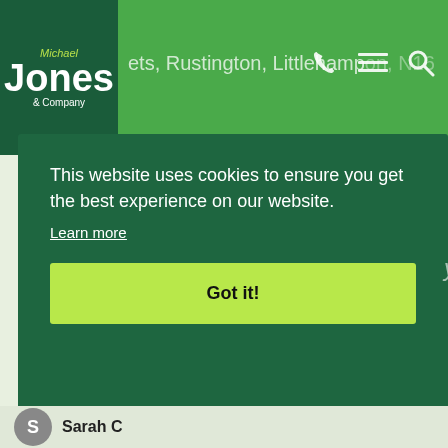Michael Jones & Company — ets, Rustington, Littlehampton, N16...
Offers Over £325,000 | bed 2
An excellent opportunity to purchase this two bedroom ground floor seafront apartment...
This website uses cookies to ensure you get the best experience on our website.
Learn more
Got it!
Sarah C